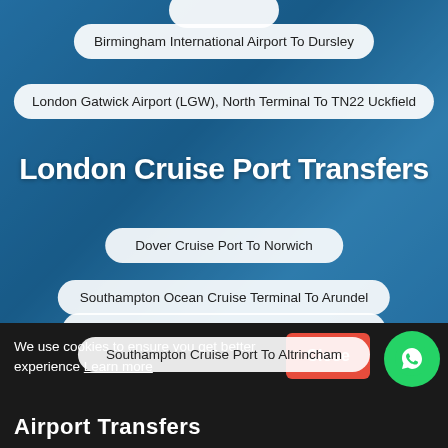Birmingham International Airport To Dursley
London Gatwick Airport (LGW), North Terminal To TN22 Uckfield
London Cruise Port Transfers
Dover Cruise Port To Norwich
Southampton Ocean Cruise Terminal To Arundel
Mayflower Cruise Terminal To NW10 Willesden
Southampton Cruise Port To Altrincham
We use cookies to ensure you get better experience Learn more
Close
Airport Transfers